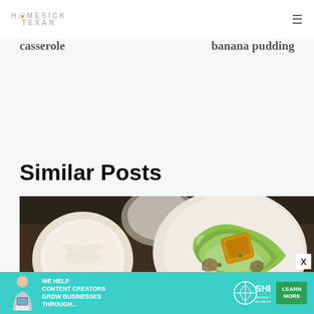HOMESICK TEXAN
casserole
banana pudding
Similar Posts
[Figure (photo): A caesar salad with romaine lettuce, crouton, parmesan cheese in a bowl, and additional bowls with ingredients on a dark wooden surface]
[Figure (infographic): Advertisement banner: SHE Partner Network - We help content creators grow businesses through... Learn More button]